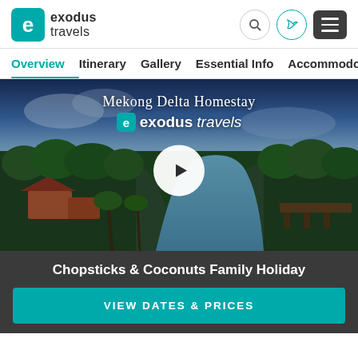[Figure (logo): Exodus Travels logo with teal rounded-square icon containing letter e, and text 'exodus travels']
exodus travels — navigation header with search, phone, and menu icons
Overview  Itinerary  Gallery  Essential Info  Accommodo…
[Figure (screenshot): Video thumbnail aerial view of Mekong Delta with palm trees, river, and buildings. Text overlay: 'Mekong Delta Homestay' and 'exodus travels' logo. White circular play button in center.]
Chopsticks & Coconuts Family Holiday
VIEW DATES & PRICES